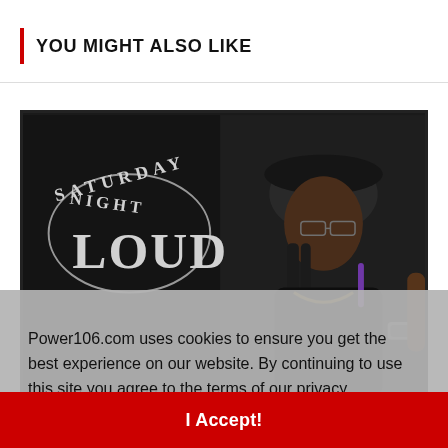YOU MIGHT ALSO LIKE
[Figure (photo): Saturday Night Loud promotional image featuring a young rapper with braids, glasses, and a chain necklace, wearing a black hat and black shirt, holding a purple item. The Saturday Night Loud logo is on the left side in white text on black background.]
Lil Durk, Polo G, Mulatto & Smley S... New Single "Blame Me"
Power106.com uses cookies to ensure you get the best experience on our website. By continuing to use this site you agree to the terms of our privacy policy.  Learn more
I Accept!